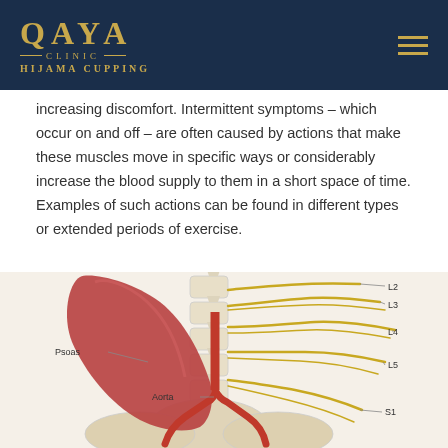QAYA CLINIC HIJAMA CUPPING
increasing discomfort. Intermittent symptoms – which occur on and off – are often caused by actions that make these muscles move in specific ways or considerably increase the blood supply to them in a short space of time. Examples of such actions can be found in different types or extended periods of exercise.
[Figure (illustration): Anatomical diagram of the lumbar spine and pelvis region, showing the Psoas muscle (red), Aorta (red vessel), lumbar nerve roots labeled L2, L3, L4, L5, and S1, with yellow nerve structures on the right side.]